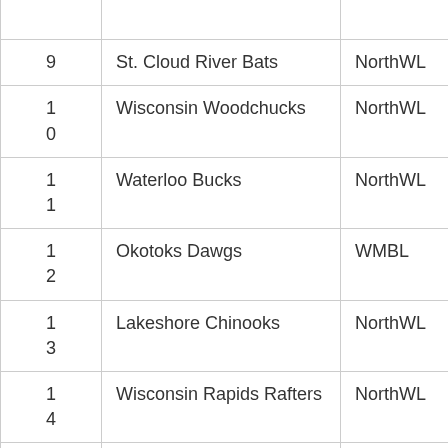| Rank | Team | League | Attendance |
| --- | --- | --- | --- |
|  |  |  | 2 |
| 9 | St. Cloud River Bats | NorthWL | 55,841 |
| 10 | Wisconsin Woodchucks | NorthWL | 55,040 |
| 11 | Waterloo Bucks | NorthWL | 50,943 |
| 12 | Okotoks Dawgs | WMBL | 48,448 |
| 13 | Lakeshore Chinooks | NorthWL | 46,022 |
| 14 | Wisconsin Rapids Rafters | NorthWL | 45,959 |
| 1 | Chilli... | Pl... | 45,0... |